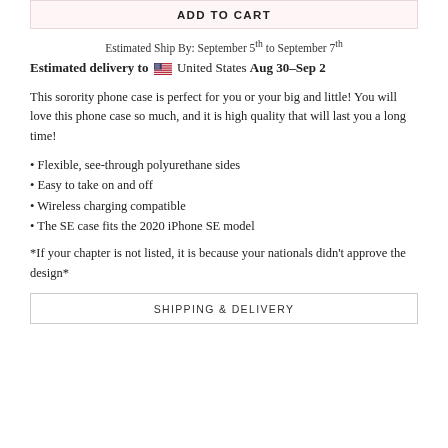ADD TO CART
Estimated Ship By: September 5th to September 7th
Estimated delivery to 🇺🇸 United States Aug 30–Sep 2
This sorority phone case is perfect for you or your big and little! You will love this phone case so much, and it is high quality that will last you a long time!
Flexible, see-through polyurethane sides
Easy to take on and off
Wireless charging compatible
The SE case fits the 2020 iPhone SE model
*If your chapter is not listed, it is because your nationals didn't approve the design*
SHIPPING & DELIVERY